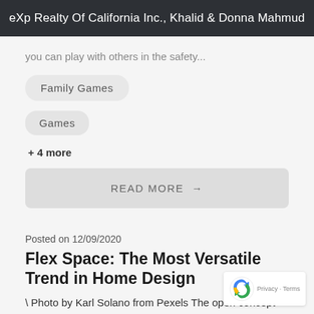eXp Realty Of California Inc., Khalid & Donna Mahmud
you can play with others in the safety...
Family Games
Games
+ 4 more
READ MORE →
Posted on 12/09/2020
Flex Space: The Most Versatile Trend in Home Design
\ Photo by Karl Solano from Pexels The open concept took over several years ago, and now, homeowners reluctant to give up the flexibility that this optimal layout